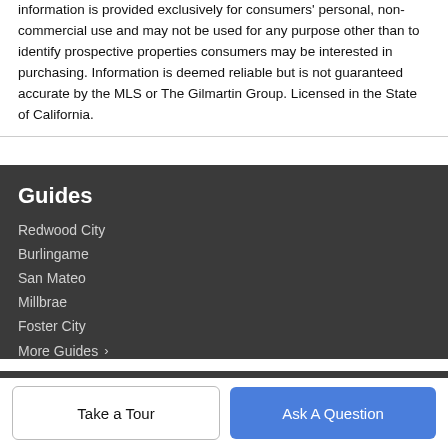information is provided exclusively for consumers' personal, non-commercial use and may not be used for any purpose other than to identify prospective properties consumers may be interested in purchasing. Information is deemed reliable but is not guaranteed accurate by the MLS or The Gilmartin Group. Licensed in the State of California.
Guides
Redwood City
Burlingame
San Mateo
Millbrae
Foster City
More Guides ›
Company
Take a Tour
Ask A Question